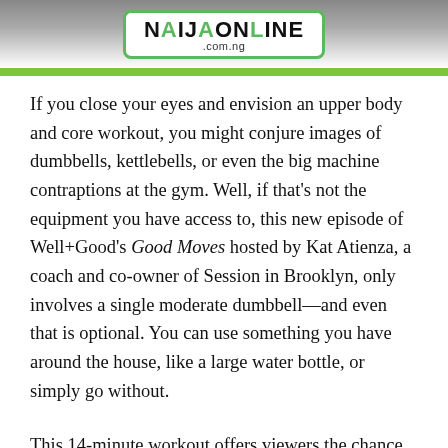[Figure (logo): NaijaOnline .com.ng website banner logo with green border and green bar below]
If you close your eyes and envision an upper body and core workout, you might conjure images of dumbbells, kettlebells, or even the big machine contraptions at the gym. Well, if that’s not the equipment you have access to, this new episode of Well+Good’s Good Moves hosted by Kat Atienza, a coach and co-owner of Session in Brooklyn, only involves a single moderate dumbbell—and even that is optional. You can use something you have around the house, like a large water bottle, or simply go without.
This 14-minute workout offers viewers the chance to work on their upper body and core strength with some beginner-friendly, medium-impact bodyweight moves. “Bodyweight training is strength, endurance, and cardiovascular training using your own weight to provide